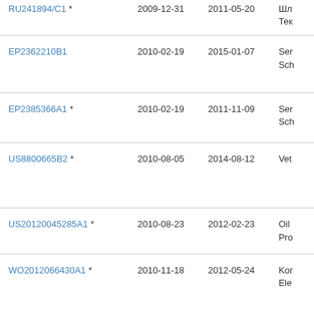| Patent ID | Filing Date | Publication Date | Description |
| --- | --- | --- | --- |
| RU241894/C1 * | 2009-12-31 | 2011-05-20 | Шл Тек |
| EP2362210B1 | 2010-02-19 | 2015-01-07 | Ser Sch |
| EP2385366A1 * | 2010-02-19 | 2011-11-09 | Ser Sch |
| US8800665B2 * | 2010-08-05 | 2014-08-12 | Vet |
| US20120045285A1 * | 2010-08-23 | 2012-02-23 | Oil Pro |
| WO2012066430A1 * | 2010-11-18 | 2012-05-24 | Kor Ele |